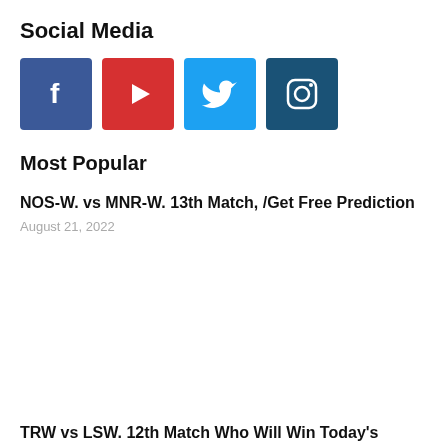Social Media
[Figure (illustration): Four social media icon boxes in a row: Facebook (blue, f), YouTube (red, play button), Twitter (light blue, bird), Instagram (dark blue, camera outline)]
Most Popular
NOS-W. vs MNR-W. 13th Match, /Get Free Prediction
August 21, 2022
TRW vs LSW. 12th Match Who Will Win Today's